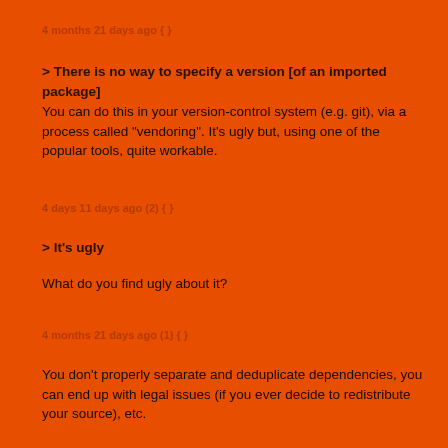4 months 21 days ago { }
> There is no way to specify a version [of an imported package]
You can do this in your version-control system (e.g. git), via a process called "vendoring". It's ugly but, using one of the popular tools, quite workable.
4 days 11 days ago (2) { }
> It's ugly
What do you find ugly about it?
4 months 21 days ago (1) { }
You don't properly separate and deduplicate dependencies, you can end up with legal issues (if you ever decide to redistribute your source), etc.
One of the few dependency systems I've seen that work well is Gradle with Maven dependencies, using Java 9's versioned modules.
Proper versioning, proper dependencies, etc.
4 months 21 days ago { }